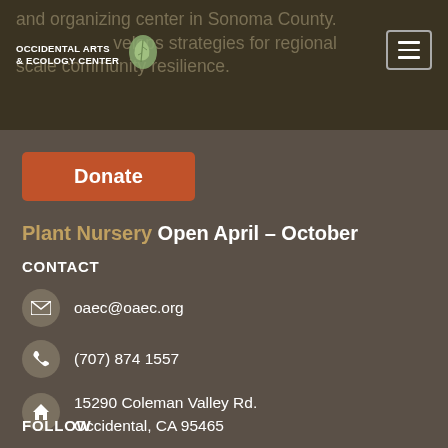and organizing center in Sonoma County. develops strategies for regional scale community resilience.
[Figure (logo): Occidental Arts & Ecology Center logo with leaf icon]
Donate
Plant Nursery Open April – October
CONTACT
oaec@oaec.org
(707) 874 1557
15290 Coleman Valley Rd.
Occidental, CA 95465
FOLLOW